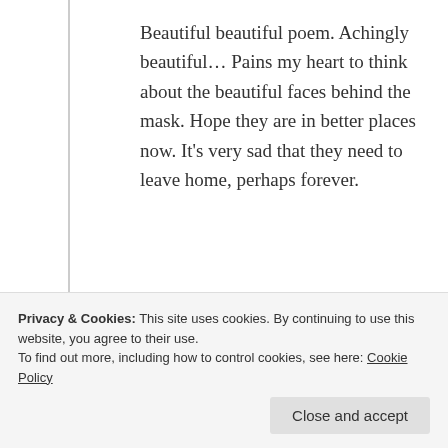Beautiful beautiful poem. Achingly beautiful… Pains my heart to think about the beautiful faces behind the mask. Hope they are in better places now. It's very sad that they need to leave home, perhaps forever.
★ Liked by 3 people
Log in to Reply
Privacy & Cookies: This site uses cookies. By continuing to use this website, you agree to their use.
To find out more, including how to control cookies, see here: Cookie Policy
Close and accept
Yes dear Sam, thanks for putting your